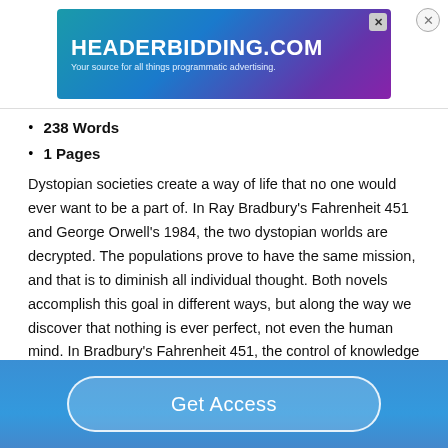[Figure (screenshot): Advertisement banner for headerbidding.com — teal/purple gradient background with white bold text 'HEADERBIDDING.COM' and subtitle 'Your source for all things programmatic advertising.']
238 Words
1 Pages
Dystopian societies create a way of life that no one would ever want to be a part of. In Ray Bradbury's Fahrenheit 451 and George Orwell's 1984, the two dystopian worlds are decrypted. The populations prove to have the same mission, and that is to diminish all individual thought. Both novels accomplish this goal in different ways, but along the way we discover that nothing is ever perfect, not even the human mind. In Bradbury's Fahrenheit 451, the control of knowledge is what runs through the veins of the government, burning books is the chosen method to
Get Access